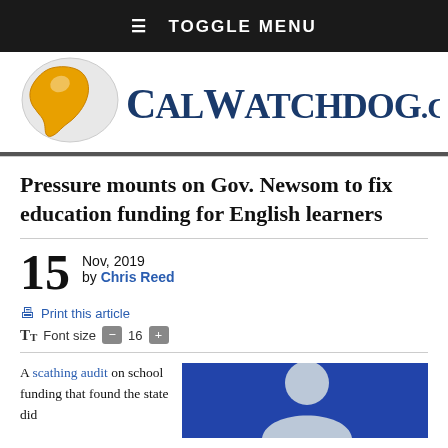≡ TOGGLE MENU
[Figure (logo): CalWatchdog.com logo with California state shape in gold/yellow and dark blue text]
Pressure mounts on Gov. Newsom to fix education funding for English learners
15 Nov, 2019 by Chris Reed
Print this article  Font size  16
A scathing audit on school funding that found the state did